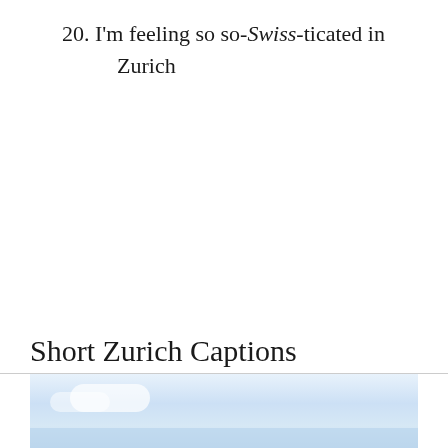20. I'm feeling so so-Swiss-ticated in Zurich
Short Zurich Captions
[Figure (photo): A light blue sky with soft clouds, partial view of a scene in Zurich — cropped strip at bottom of page]